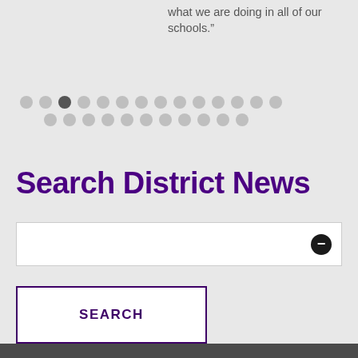what we are doing in all of our schools.”
[Figure (other): Pagination dots: two rows of circular dots, the third dot in the first row is darker/active, rest are light grey]
Search District News
[Figure (other): Search input box with a black circular minus/search icon on the right side]
[Figure (other): SEARCH button with purple border and white background]